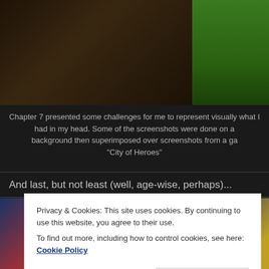[Figure (screenshot): Two side-by-side screenshot images: a dark indoor/game scene on the left and a green screen / outdoor scene on the right]
Chapter 7 presented some challenges for me to represent visually what I had in my head. Some of the screenshots were done on a green screen background then superimposed over screenshots from a game called "City of Heroes"
And last, but not least (well, age-wise, perhaps)...
[Figure (photo): Colorful photo partially visible behind the cookie consent banner, appears to show a blue and red costumed figure]
Privacy & Cookies: This site uses cookies. By continuing to use this website, you agree to their use.
To find out more, including how to control cookies, see here: Cookie Policy